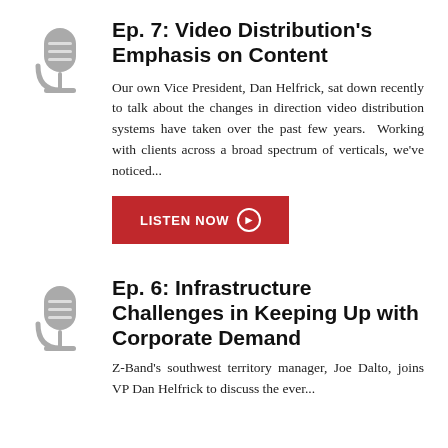[Figure (illustration): Gray microphone icon for podcast episode 7]
Ep. 7: Video Distribution's Emphasis on Content
Our own Vice President, Dan Helfrick, sat down recently to talk about the changes in direction video distribution systems have taken over the past few years. Working with clients across a broad spectrum of verticals, we've noticed...
LISTEN NOW
[Figure (illustration): Gray microphone icon for podcast episode 6]
Ep. 6: Infrastructure Challenges in Keeping Up with Corporate Demand
Z-Band's southwest territory manager, Joe Dalto, joins VP Dan Helfrick to discuss the ever...